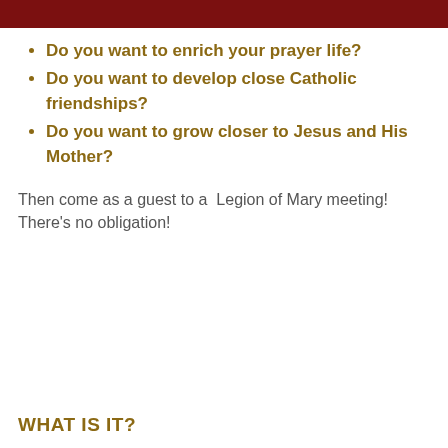Do you want to enrich your prayer life?
Do you want to develop close Catholic friendships?
Do you want to grow closer to Jesus and His Mother?
Then come as a guest to a Legion of Mary meeting! There's no obligation!
WHAT IS IT?